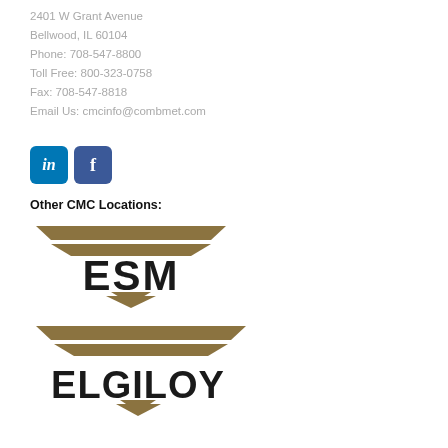2401 W Grant Avenue
Bellwood, IL 60104
Phone: 708-547-8800
Toll Free: 800-323-0758
Fax: 708-547-8818
Email Us: cmcinfo@combmet.com
[Figure (logo): LinkedIn and Facebook social media buttons]
Other CMC Locations:
[Figure (logo): ESM logo with gold chevron/wing design and bold black ESM text]
[Figure (logo): Elgiloy logo with gold chevron/wing design and bold black ELGILOY text]